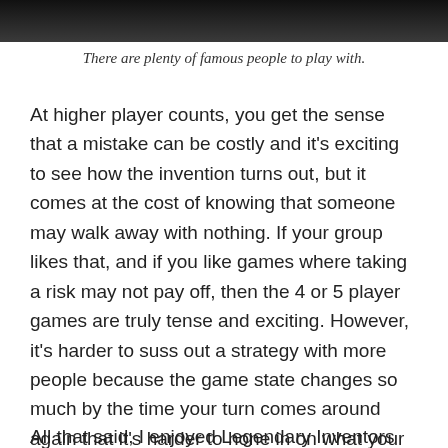[Figure (photo): Dark image at the top of the page, partially cropped]
There are plenty of famous people to play with.
At higher player counts, you get the sense that a mistake can be costly and it's exciting to see how the invention turns out, but it comes at the cost of knowing that someone may walk away with nothing. If your group likes that, and if you like games where taking a risk may not pay off, then the 4 or 5 player games are truly tense and exciting. However, it's harder to suss out a strategy with more people because the game state changes so much by the time your turn comes around again that it's harder to hone in on what your opponents are doing and counteract them.
All that said, I enjoyed Legendary Inventors once I